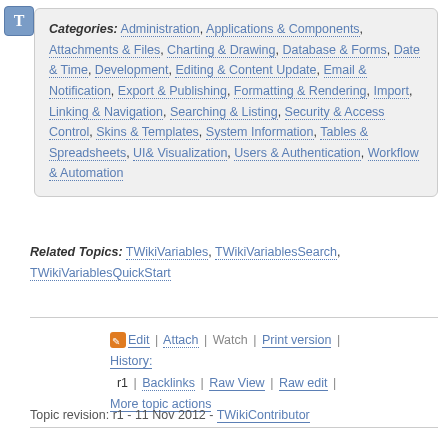Categories: Administration, Applications & Components, Attachments & Files, Charting & Drawing, Database & Forms, Date & Time, Development, Editing & Content Update, Email & Notification, Export & Publishing, Formatting & Rendering, Import, Linking & Navigation, Searching & Listing, Security & Access Control, Skins & Templates, System Information, Tables & Spreadsheets, UI& Visualization, Users & Authentication, Workflow & Automation
Related Topics: TWikiVariables, TWikiVariablesSearch, TWikiVariablesQuickStart
Edit | Attach | Watch | Print version | History: r1 | Backlinks | Raw View | Raw edit | More topic actions
Topic revision: r1 - 11 Nov 2012 - TWikiContributor